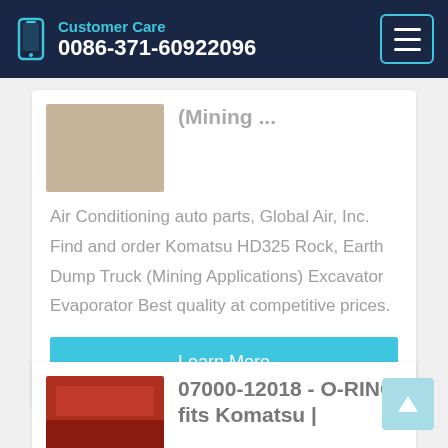Customer Care | 0086-371-60922096
(Mining ...
Air Conditioning auto parts, Global Air, Inc. Find and order Komatsu HD325 Rock, Earth Dump Truck (Mining Applications) Excavator Evaporator Best quality at competitive prices.
Learn More
07000-12018 - O-RING fits Komatsu |